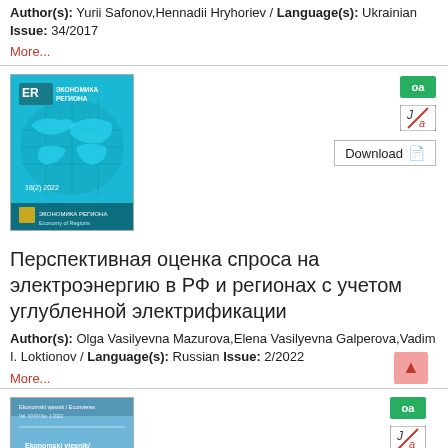Author(s): Yurii Safonov,Hennadii Hryhoriev / Language(s): Ukrainian Issue: 34/2017
More...
[Figure (photo): Journal cover: Economy of Regions / Экономика Региона, 18(2) 2022, teal/blue cover with world map]
[Figure (logo): OA open access badge (green)]
[Figure (logo): Ja journal access badge (white/red slash)]
Download (PDF icon)
Перспективная оценка спроса на электроэнергию в РФ и регионах с учетом углубленной электрификации
Author(s): Olga Vasilyevna Mazurova,Elena Vasilyevna Galperova,Vadim I. Loktionov / Language(s): Russian Issue: 2/2022
More...
[Figure (photo): Journal cover: Ekonomski vjesnik / Econviews, blue cover]
[Figure (logo): OA open access badge (green)]
[Figure (logo): Ja journal access badge (white/red slash)]
Download (PDF icon)